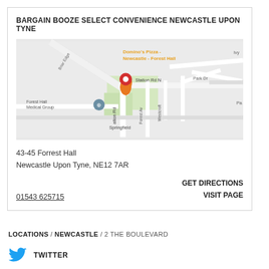BARGAIN BOOZE SELECT CONVENIENCE NEWCASTLE UPON TYNE
[Figure (map): Google Maps view showing location of Bargain Booze Select Convenience near Station Rd N, Forest Hall, Newcastle Upon Tyne. Red pin marker visible. Nearby labels: Domino's Pizza - Newcastle - Forest Hall (orange text), Forest Hall Medical Group, Springfield, Briar Edge, Station Rd, Station Rd N, Park Dr, Westcroft, Forest Av.]
43-45 Forrest Hall
Newcastle Upon Tyne, NE12 7AR
01543 625715
GET DIRECTIONS
VISIT PAGE
LOCATIONS / NEWCASTLE / 2 THE BOULEVARD
TWITTER